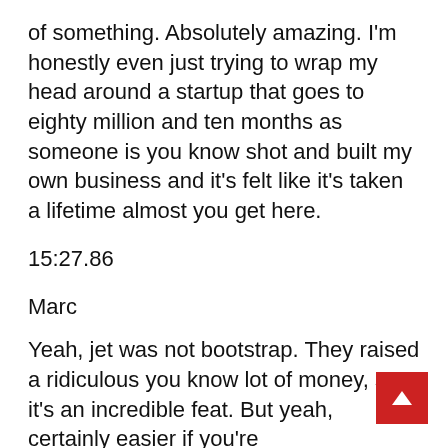of something. Absolutely amazing. I'm honestly even just trying to wrap my head around a startup that goes to eighty million and ten months as someone is you know shot and built my own business and it's felt like it's taken a lifetime almost you get here.
15:27.86
Marc
Yeah, jet was not bootstrap. They raised a ridiculous you know lot of money, so it's an incredible feat. But yeah, certainly easier if you're...